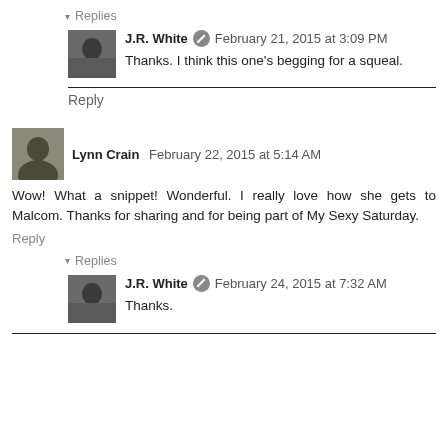▾ Replies
J.R. White  February 21, 2015 at 3:09 PM
Thanks. I think this one's begging for a squeal.
Reply
Lynn Crain  February 22, 2015 at 5:14 AM
Wow! What a snippet! Wonderful. I really love how she gets to Malcom. Thanks for sharing and for being part of My Sexy Saturday.
Reply
▾ Replies
J.R. White  February 24, 2015 at 7:32 AM
Thanks.